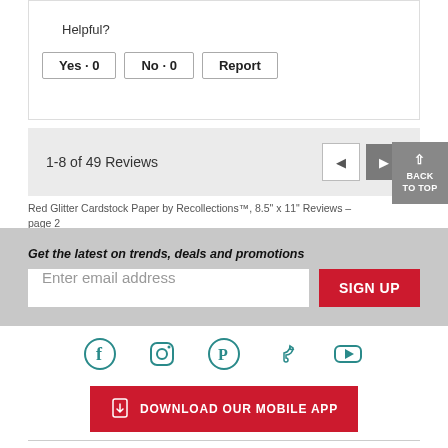Helpful?
Yes · 0    No · 0    Report
1-8 of 49 Reviews
Red Glitter Cardstock Paper by Recollections™, 8.5" x 11" Reviews - page 2
Get the latest on trends, deals and promotions
Enter email address
SIGN UP
[Figure (infographic): Social media icons row: Facebook, Instagram, Pinterest, TikTok, YouTube in teal color]
DOWNLOAD OUR MOBILE APP
NEED HELP?